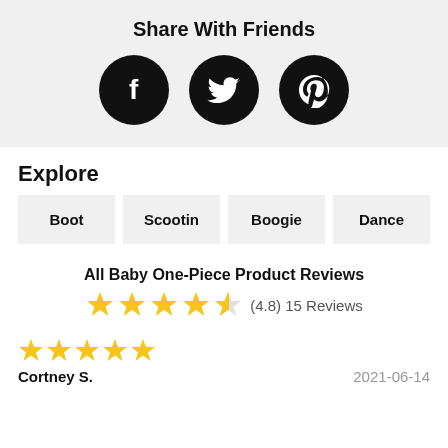Share With Friends
[Figure (illustration): Three social media icon circles: Facebook (f), Twitter (bird), Pinterest (P) on dark background]
Explore
Boot
Scootin
Boogie
Dance
All Baby One-Piece Product Reviews
(4.8) 15 Reviews
[Figure (illustration): 5-star rating display showing 4.5 stars filled in gold]
Cortney S.
2021-06-14